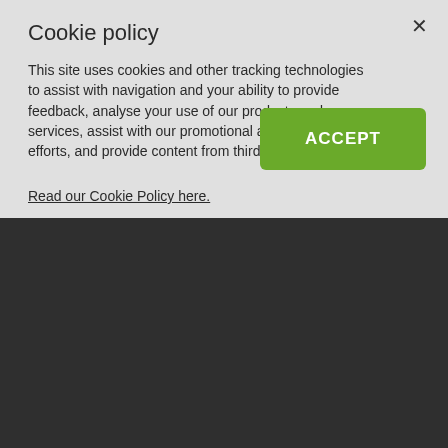Cookie policy
This site uses cookies and other tracking technologies to assist with navigation and your ability to provide feedback, analyse your use of our products and services, assist with our promotional and marketing efforts, and provide content from third parties.
Read our Cookie Policy here.
[Figure (screenshot): Green ACCEPT button]
Cooking tips and promotions delivered direct to your inbox
[Figure (screenshot): Email Address input field with green arrow submit button]
[Figure (screenshot): Phone Number input field with US flag and chevron]
[Figure (screenshot): Pick Your Range dropdown]
By entering your phone number and submitting this form,